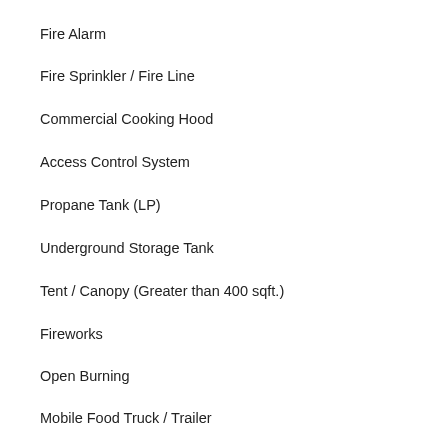Fire Alarm
Fire Sprinkler / Fire Line
Commercial Cooking Hood
Access Control System
Propane Tank (LP)
Underground Storage Tank
Tent / Canopy (Greater than 400 sqft.)
Fireworks
Open Burning
Mobile Food Truck / Trailer